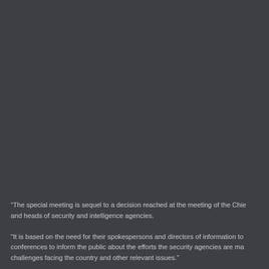“The special meeting is sequel to a decision reached at the meeting of the Chie and heads of security and intelligence agencies.
“It is based on the need for their spokespersons and directors of information to conferences to inform the public about the efforts the security agencies are ma challenges facing the country and other relevant issues.”